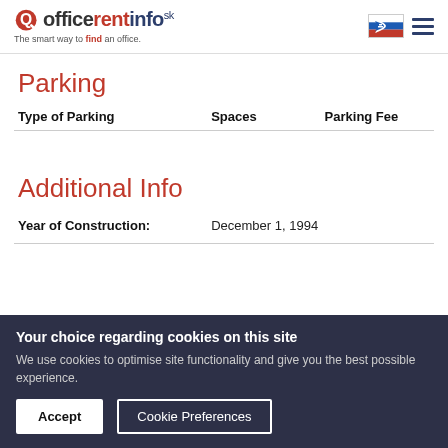officerentinfo.sk — The smart way to find an office.
Parking
| Type of Parking | Spaces | Parking Fee |
| --- | --- | --- |
Additional Info
| Year of Construction: | December 1, 1994 |
| --- | --- |
Your choice regarding cookies on this site
We use cookies to optimise site functionality and give you the best possible experience.